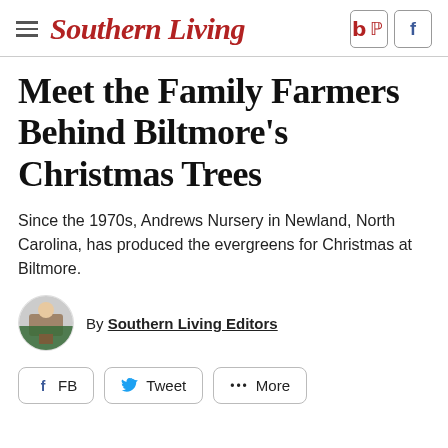Southern Living
Meet the Family Farmers Behind Biltmore's Christmas Trees
Since the 1970s, Andrews Nursery in Newland, North Carolina, has produced the evergreens for Christmas at Biltmore.
By Southern Living Editors
FB   Tweet   ••• More